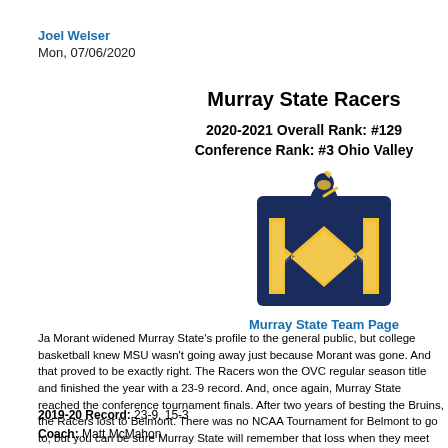Joel Welser
Mon, 07/06/2020
Murray State Racers
2020-2021 Overall Rank: #129
Conference Rank: #3 Ohio Valley
[Figure (logo): Murray State Racers athletic logo: large gold M with a racer/knight figure on top, dark navy border]
Murray State Team Page
Ja Morant widened Murray State's profile to the general public, but college basketball knew MSU wasn't going away just because Morant was gone. And that proved to be exactly right. The Racers won the OVC regular season title and finished the year with a 23-9 record. And, once again, Murray State reached the conference tournament finals. After two years of besting the Bruins, the Racers lost to Belmont. There was no NCAA Tournament for Belmont to go to, but you can be sure Murray State will remember that loss when they meet up again this March with another tournament bid on the line.
2019-20 Record: 23-9, 15-3
Coach: Matt McMahon